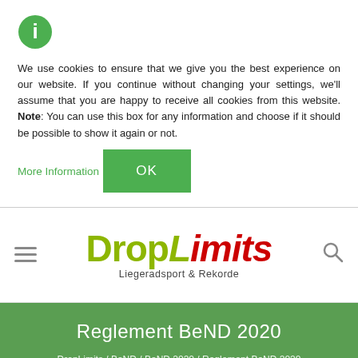[Figure (illustration): Green circular info icon with white letter i]
We use cookies to ensure that we give you the best experience on our website. If you continue without changing your settings, we'll assume that you are happy to receive all cookies from this website. Note: You can use this box for any information and choose if it should be possible to show it again or not.
More Information
OK
[Figure (logo): DropLimits logo with olive/green Drop text and red italic Limits text, tagline: Liegeradsport & Rekorde]
Reglement BeND 2020
DropLimits / BeND / BeND 2020 / Reglement BeND 2020